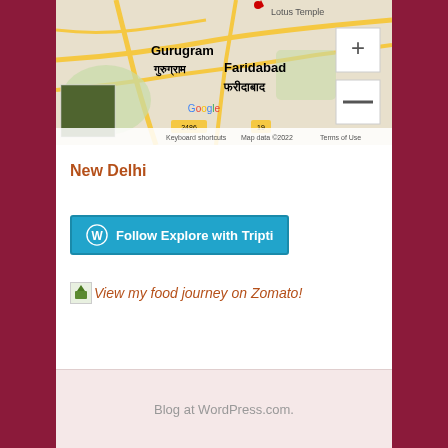[Figure (map): Google Maps showing New Delhi area with Gurugram, Faridabad, and Lotus Temple marked. Map controls including zoom in (+) and zoom out (-) buttons visible. Satellite view thumbnail in bottom left corner. Map data ©2022, Terms of Use shown at bottom.]
New Delhi
[Figure (other): Follow Explore with Tripti button with WordPress logo icon]
[Figure (other): Zomato food journey link with small green icon]
Blog at WordPress.com.